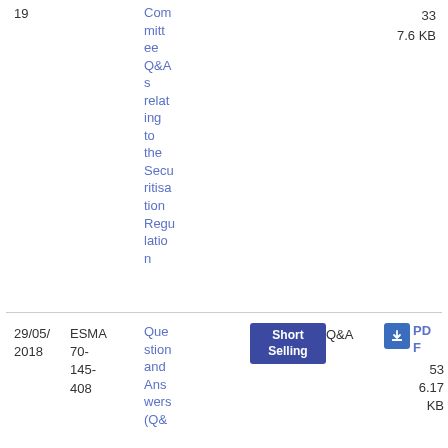| # | Reference | Title | Topic | Type | Download | Pages/Size |
| --- | --- | --- | --- | --- | --- | --- |
| 19 |  | Committee Q&As relating to the Securitisation Regulation |  |  |  | 33
7.6 KB |
|  | 29/05/2018 | ESMA 70-145-408 | Question and Answers (Q&... | Short Selling | Q&A | PDF
53
6.17 KB |